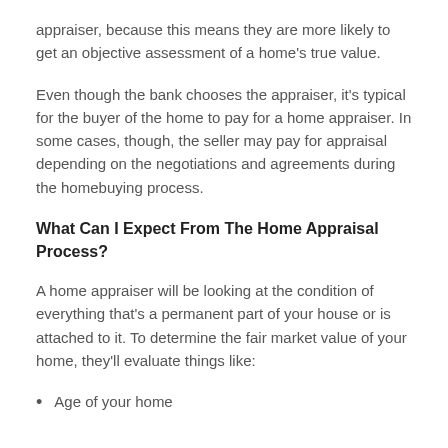appraiser, because this means they are more likely to get an objective assessment of a home's true value.
Even though the bank chooses the appraiser, it's typical for the buyer of the home to pay for a home appraiser. In some cases, though, the seller may pay for appraisal depending on the negotiations and agreements during the homebuying process.
What Can I Expect From The Home Appraisal Process?
A home appraiser will be looking at the condition of everything that's a permanent part of your house or is attached to it. To determine the fair market value of your home, they'll evaluate things like:
Age of your home